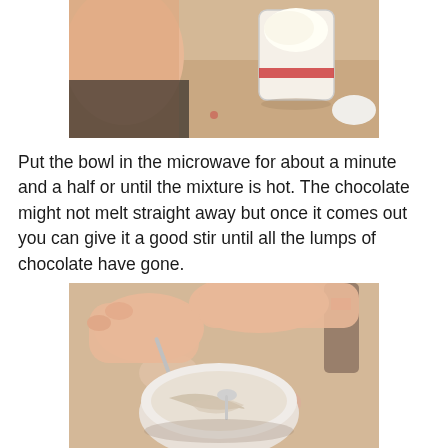[Figure (photo): Photo of a person's arm and a cup/container with white substance (softened butter or cream), viewed from above on a patterned surface]
Put the bowl in the microwave for about a minute and a half or until the mixture is hot. The chocolate might not melt straight away but once it comes out you can give it a good stir until all the lumps of chocolate have gone.
[Figure (photo): Photo of child's hands stirring a bowl of chocolate mixture with a spoon on a floral tablecloth, with a bottle visible in the background]